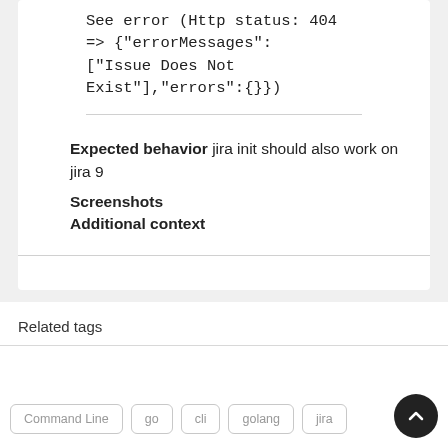See error (Http status: 404 => {"errorMessages": ["Issue Does Not Exist"],"errors":{}})
Expected behavior jira init should also work on jira 9
Screenshots
Additional context
Related tags
Command Line
go
cli
golang
jira